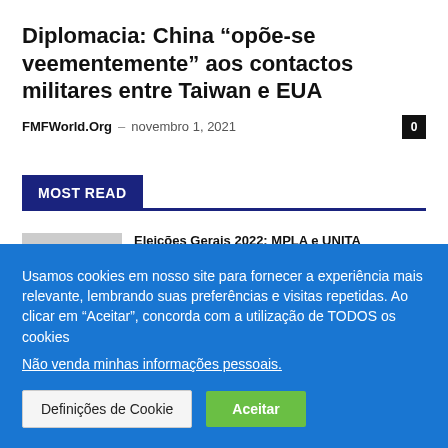Diplomacia: China “opõe-se veementemente” aos contactos militares entre Taiwan e EUA
FMFWorld.Org – novembro 1, 2021
MOST READ
Eleições Gerais 2022: MPLA e UNITA
Usamos cookies em nosso site para fornecer a experiência mais relevante, lembrando suas preferências e visitas repetidas. Ao clicar em “Aceitar”, concorda com a utilização de TODOS os cookies
Não venda minhas informações pessoais.